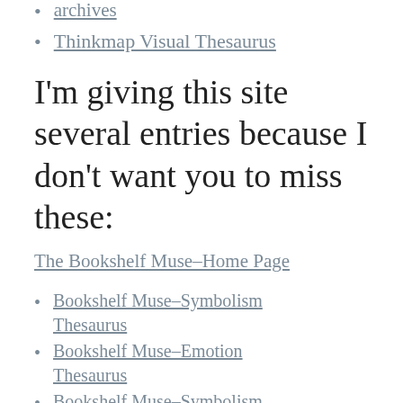archives
Thinkmap Visual Thesaurus
I'm giving this site several entries because I don't want you to miss these:
The Bookshelf Muse–Home Page
Bookshelf Muse–Symbolism Thesaurus
Bookshelf Muse–Emotion Thesaurus
Bookshelf Muse–Symbolism Thesaurus
Bookshelf Muse–Blogs you